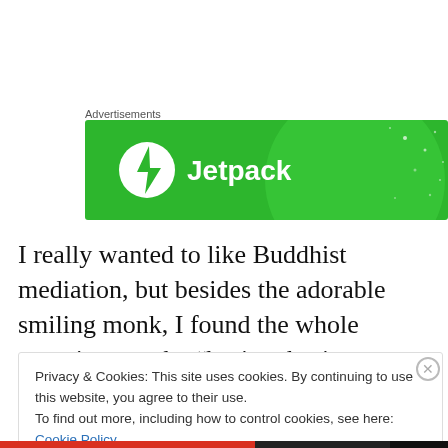Advertisements
[Figure (logo): Jetpack advertisement banner — green background with white Jetpack logo (lightning bolt in circle) and text 'Jetpack']
I really wanted to like Buddhist mediation, but besides the adorable smiling monk, I found the whole experience to be “boring, boring, boring” and “pain, pain, pain.”
Privacy & Cookies: This site uses cookies. By continuing to use this website, you agree to their use.
To find out more, including how to control cookies, see here: Cookie Policy